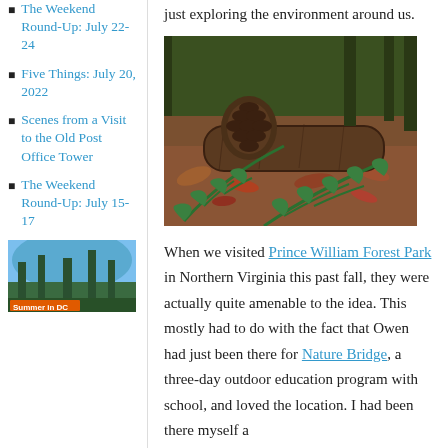The Weekend Round-Up: July 22-24
Five Things: July 20, 2022
Scenes from a Visit to the Old Post Office Tower
The Weekend Round-Up: July 15-17
[Figure (photo): Summer in DC sidebar image showing trees against blue sky]
just exploring the environment around us.
[Figure (photo): Forest floor photo showing a large pine cone, fallen log, fern fronds, and autumn leaves at Prince William Forest Park]
When we visited Prince William Forest Park in Northern Virginia this past fall, they were actually quite amenable to the idea. This mostly had to do with the fact that Owen had just been there for Nature Bridge, a three-day outdoor education program with school, and loved the location. I had been there myself a